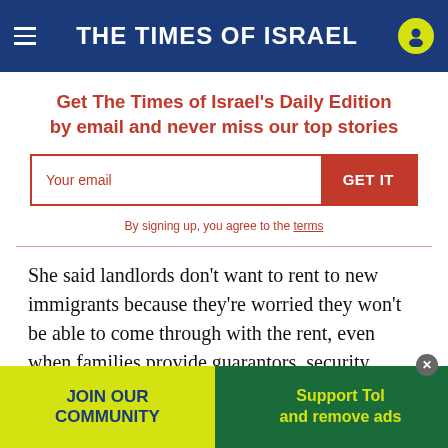THE TIMES OF ISRAEL
Get The Times of Israel's Daily Edition by email and never miss our top stories
By signing up, you agree to the terms
She said landlords don’t want to rent to new immigrants because they’re worried they won’t be able to come through with the rent, even when families provide guarantors, security checks and documents from the Immigration and Absorption Ministry showing they receive a grant for rent.
A volu... the
JOIN OUR COMMUNITY
Support ToI and remove ads